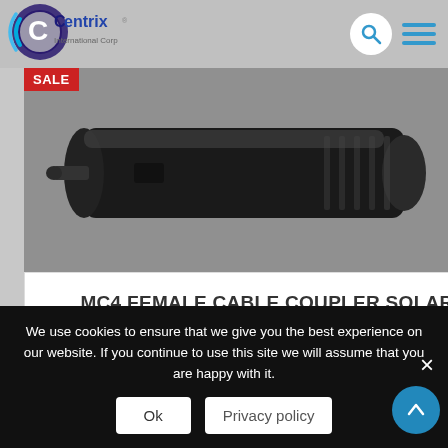[Figure (logo): Centrix International Corp logo with circular C emblem in blue/purple and teal arcs]
[Figure (photo): MC4 female cable coupler solar connector with solid pin insert - black metallic connector hardware photographed on gray background]
SALE
MC4 FEMALE CABLE COUPLER SOLAR CONNECTOR W/ SOLID PIN INSERT
$4.00 $1.25
We use cookies to ensure that we give you the best experience on our website. If you continue to use this site we will assume that you are happy with it.
Ok
Privacy policy